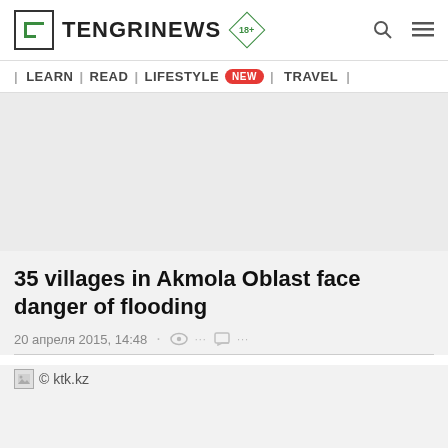TENGRINEWS 18+
| LEARN | READ | LIFESTYLE NEW | TRAVEL |
35 villages in Akmola Oblast face danger of flooding
20 апреля 2015, 14:48
© ktk.kz